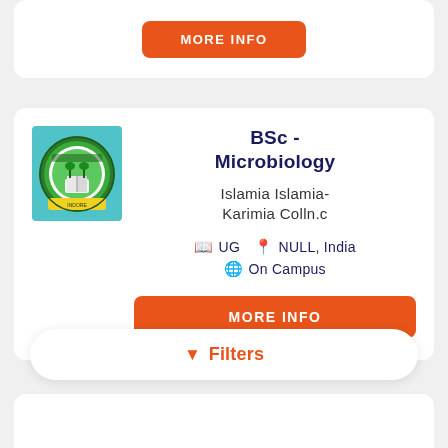[Figure (screenshot): Partial top card showing a MORE INFO orange button]
[Figure (logo): Islamia Karimia College circular logo with green and yellow design on blue background]
BSc - Microbiology
Islamia Islamia-Karimia Colln.c
UG   NULL, India   On Campus
MORE INFO
Filters
[Figure (screenshot): Bottom partial card visible at the bottom of the page]